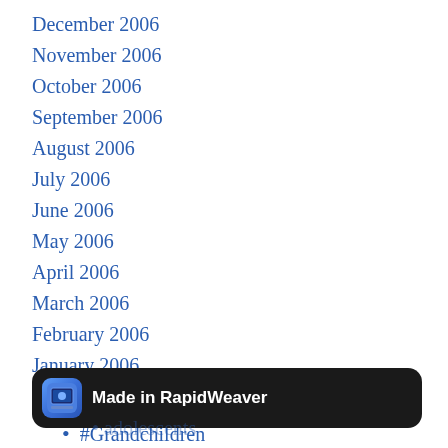December 2006
November 2006
October 2006
September 2006
August 2006
July 2006
June 2006
May 2006
April 2006
March 2006
February 2006
January 2006
#BucketChallenge
#Grandchildren
[Figure (screenshot): Made in RapidWeaver badge/button with app icon]
adolescents (partially visible)